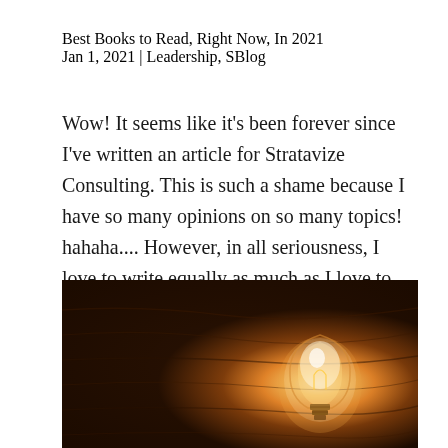Best Books to Read, Right Now, In 2021
Jan 1, 2021 | Leadership, SBlog
Wow! It seems like it's been forever since I've written an article for Stratavize Consulting. This is such a shame because I have so many opinions on so many topics! hahaha.... However, in all seriousness, I love to write equally as much as I love to...
[Figure (photo): A glowing incandescent light bulb resting on a dark wooden surface, illuminated with warm orange light against a dark background.]